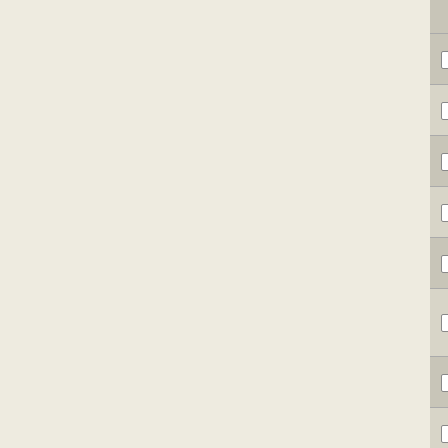|  | NC Accession | Gene ID | Description |
| --- | --- | --- | --- |
|  |  |  | containing... |
| ☐ | NC_010803 | Clim_0112 | hypothetical protein |
| ☐ | NC_008639 | Cpha266_1216 | hypothetical protein |
| ☐ | NC_011060 | Ppha_0145 | hypothetical protein |
| ☐ | NC_010831 | Cphamn1_0805 | hypothetical protein |
| ☐ | NC_010831 | Cphamn1_0140 | hypothetical protein |
| ☐ | NC_007519 | Dde_2904 | CopG family transcriptional regulator |
| ☐ | NC_007514 | Cag_0584 | hypothetical protein |
| ☐ | NC_007512 | Plut_0979 | hypothetical protein |